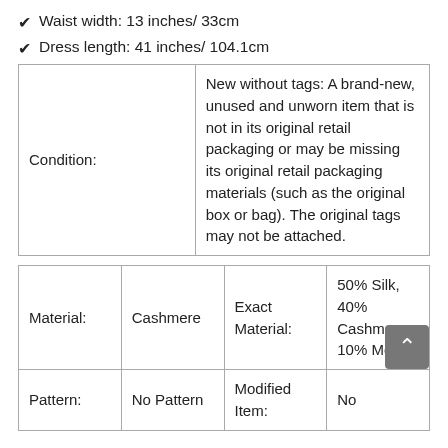Waist width: 13 inches/ 33cm
Dress length: 41 inches/ 104.1cm
| Condition: |  |
| --- | --- |
| Condition: | New without tags: A brand-new, unused and unworn item that is not in its original retail packaging or may be missing its original retail packaging materials (such as the original box or bag). The original tags may not be attached. |
| Material: | Cashmere | Exact Material: | 50% Silk, 40% Cashmere, 10% Mohair |
| --- | --- | --- | --- |
| Material: | Cashmere | Exact Material: | 50% Silk, 40% Cashmere, 10% Mohair |
| Pattern: | No Pattern | Modified Item: | No |